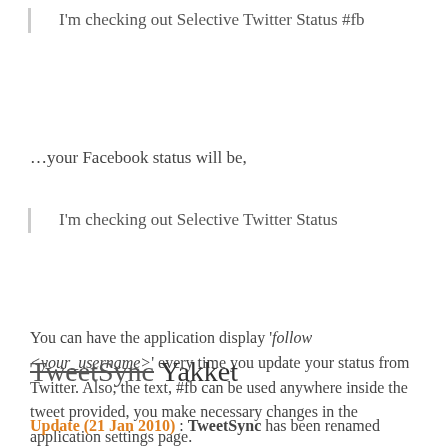I'm checking out Selective Twitter Status #fb
…your Facebook status will be,
I'm checking out Selective Twitter Status
You can have the application display 'follow <your_username>' every time you update your status from Twitter. Also, the text, #fb can be used anywhere inside the tweet provided, you make necessary changes in the application settings page.
TweetSync Yakket
Update (21 Jan 2010) : TweetSync has been renamed